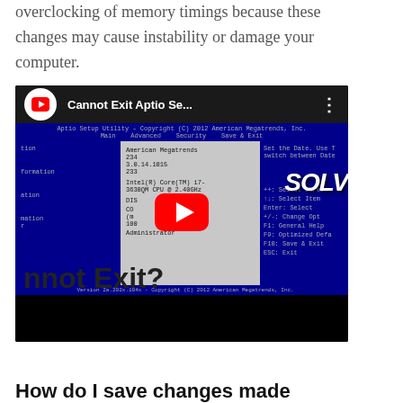overclocking of memory timings because these changes may cause instability or damage your computer.
[Figure (screenshot): YouTube video thumbnail showing 'Cannot Exit Aptio Se...' with a BIOS/UEFI setup utility screen in the background, showing American Megatrends interface, Intel Core i7 CPU info, and text 'nnot Exit?' overlaid. YouTube play button visible in center.]
How do I save changes made